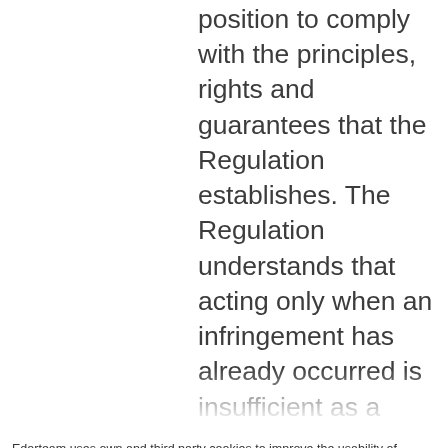position to comply with the principles, rights and guarantees that the Regulation establishes. The Regulation understands that acting only when an infringement has already occurred is insufficient as a strategy, since that infringement can cause damage to the interested
Edorteam uses own and third party cookies to improve the usability of navigation and collect information. Cookies will not be used to collect personal data. No essential for navigation cookies only will be installed if you accept this feature.
Accept cookies
Cookie settings